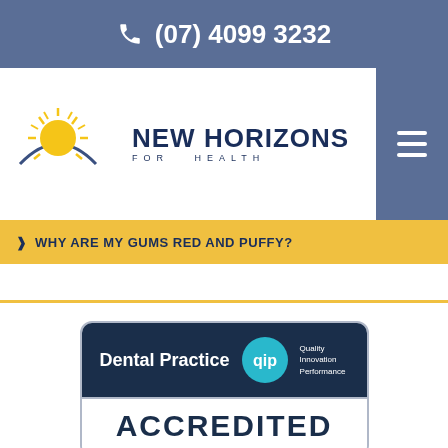(07) 4099 3232
[Figure (logo): New Horizons for Health logo with sun graphic and text]
WHY ARE MY GUMS RED AND PUFFY?
[Figure (logo): QIP Accredited Dental Practice badge showing 'Dental Practice' with QIP logo and 'ACCREDITED' text]
[Figure (logo): ADA logo partially visible at bottom]